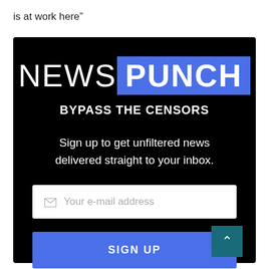is at work here”
[Figure (screenshot): NewsPunch website newsletter signup widget on black background. Shows 'NEWS PUNCH' logo with PUNCH in blue rectangle, 'BYPASS THE CENSORS' subtitle, 'Sign up to get unfiltered news delivered straight to your inbox.' text, email input field with envelope icon and placeholder 'Your e-mail address', and a blue 'SIGN UP' button. A teal scroll-to-top arrow button appears in the bottom right corner.]